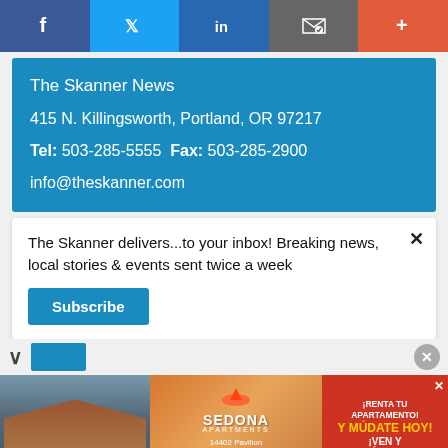Social sharing bar: Facebook, Twitter, LinkedIn, Email, More
The Skanner News
415 N. Killingsworth, Portland, OR 97217
Tel: 503-285-5555  Fax: 503-285-2900
info@theskanner.com
The Skanner delivers...to your inbox! Breaking news, local stories & events sent twice a week
Subscribe
[Figure (infographic): Sedona Apartments advertisement in Spanish: '¡RENTA TU APARTAMENTO Y MÚDATE HOY! ¡VEN Y VISÍTANOS' with address 14402 Pavilion Point, Houston, TX 77083, www.apartments.com, 281-568-4596, 1 Y 2 RECAMARAS]